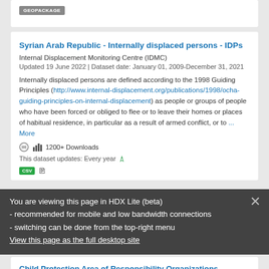[Figure (other): GEOPACKAGE badge/label in grey]
Syrian Arab Republic - Internally displaced persons - IDPs
Internal Displacement Monitoring Centre (IDMC)
Updated 19 June 2022 | Dataset date: January 01, 2009-December 31, 2021
Internally displaced persons are defined according to the 1998 Guiding Principles (http://www.internal-displacement.org/publications/1998/ocha-guiding-principles-on-internal-displacement) as people or groups of people who have been forced or obliged to flee or to leave their homes or places of habitual residence, in particular as a result of armed conflict, or to ... More
1200+ Downloads
This dataset updates: Every year
You are viewing this page in HDX Lite (beta)
- recommended for mobile and low bandwidth connections
- switching can be done from the top-right menu
View this page as the full desktop site
Child Protection Area of Responsibility Organizations